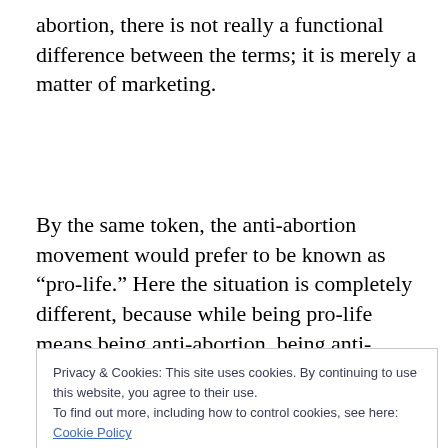abortion, there is not really a functional difference between the terms; it is merely a matter of marketing.
By the same token, the anti-abortion movement would prefer to be known as “pro-life.” Here the situation is completely different, because while being pro-life means being anti-abortion, being anti-abortion doesn’t necessarily mean being pro-life; the different names really do
pro-life movement could be — and should have been — the